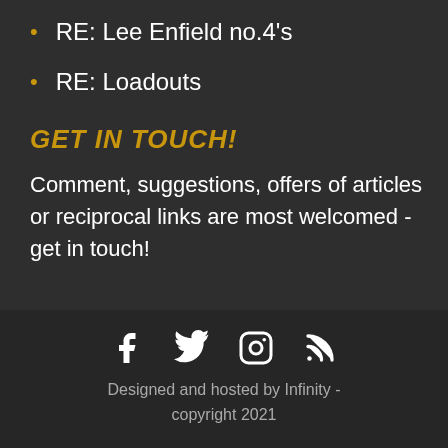RE: Lee Enfield no.4's
RE: Loadouts
GET IN TOUCH!
Comment, suggestions, offers of articles or reciprocal links are most welcomed - get in touch!
[Figure (infographic): Social media icons: Facebook, Twitter, Instagram, RSS feed]
Designed and hosted by Infinity - copyright 2021